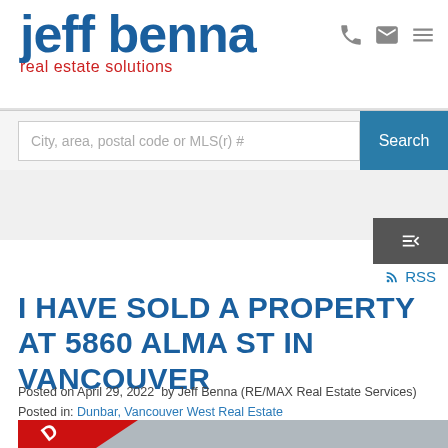[Figure (logo): Jeff Benna Real Estate Solutions logo — 'jeff benna' in large dark blue bold text, 'real estate solutions' in red below]
City, area, postal code or MLS(r) #
Search
[Figure (infographic): RSS feed icon and link]
I HAVE SOLD A PROPERTY AT 5860 ALMA ST IN VANCOUVER
Posted on April 29, 2022  by Jeff Benna (RE/MAX Real Estate Services)
Posted in: Dunbar, Vancouver West Real Estate
[Figure (photo): Property image showing a house with a red SOLD banner diagonal across the top-left corner, grey/dark exterior visible]